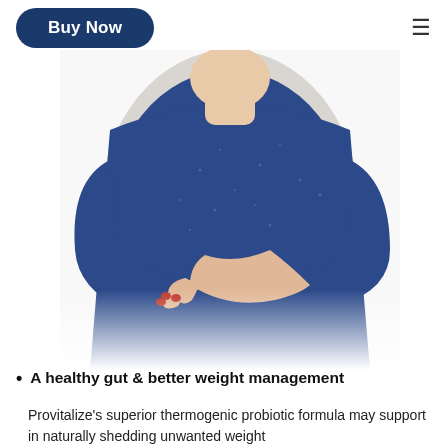Buy Now
[Figure (photo): Woman wearing a blue long-sleeve shirt with arms crossed, shown from neck to waist on white background]
A healthy gut & better weight management
Provitalize's superior thermogenic probiotic formula may support in naturally shedding unwanted weight